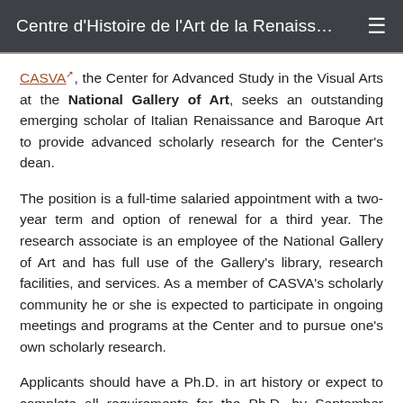Centre d'Histoire de l'Art de la Renaiss…
CASVA, the Center for Advanced Study in the Visual Arts at the National Gallery of Art, seeks an outstanding emerging scholar of Italian Renaissance and Baroque Art to provide advanced scholarly research for the Center's dean.
The position is a full-time salaried appointment with a two-year term and option of renewal for a third year. The research associate is an employee of the National Gallery of Art and has full use of the Gallery's library, research facilities, and services. As a member of CASVA's scholarly community he or she is expected to participate in ongoing meetings and programs at the Center and to pursue one's own scholarly research.
Applicants should have a Ph.D. in art history or expect to complete all requirements for the Ph.D. by September 2017. Preference is given to applicants who have not already held a regular faculty appointment. Candidates with experience in digital art history projects and skills in